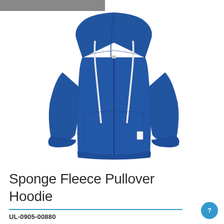[Figure (photo): A blue zip-up hoodie with white drawstrings and a zipper down the front, photographed on a model from the torso down to the hips.]
Sponge Fleece Pullover Hoodie
UL-0905-00880